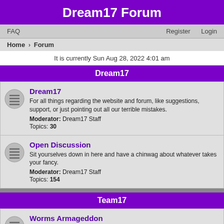Dream17 Forum
FAQ    Register    Login
Home › Forum
It is currently Sun Aug 28, 2022 4:01 am
Dream17
Dream17
For all things regarding the website and forum, like suggestions, support, or just pointing out all our terrible mistakes.
Moderator: Dream17 Staff
Topics: 30
Open Discussion
Sit yourselves down in here and have a chinwag about whatever takes your fancy.
Moderator: Dream17 Staff
Topics: 154
Team17
Worms Armageddon
Specifically for discussion of the 1999 PC game by Team17. Created as a place for discussion and to troubleshoot problems with other members. While we cannot provide OFFICIAL support, we will do what we can to help you if you need assistance.
Moderator: Dream17 Staff
Topics: 14